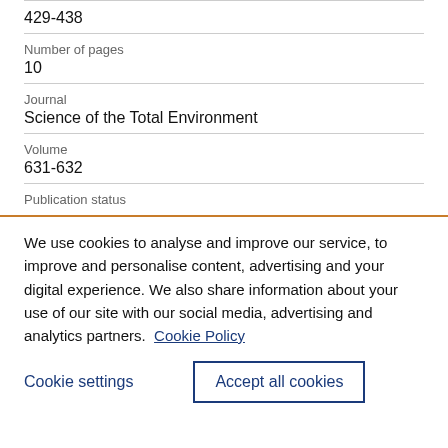429-438
Number of pages
10
Journal
Science of the Total Environment
Volume
631-632
Publication status
We use cookies to analyse and improve our service, to improve and personalise content, advertising and your digital experience. We also share information about your use of our site with our social media, advertising and analytics partners.  Cookie Policy
Cookie settings
Accept all cookies